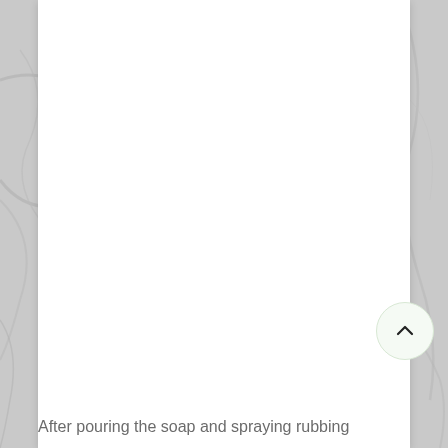[Figure (screenshot): A white card/panel on a marble-textured gray background. The card is mostly empty/white. In the lower-right area of the card there is a circular scroll-to-top button with a light green border and an upward-pointing chevron arrow icon.]
After pouring the soap and spraying rubbing